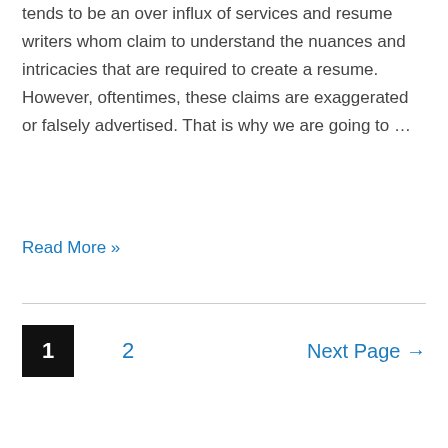tends to be an over influx of services and resume writers whom claim to understand the nuances and intricacies that are required to create a resume. However, oftentimes, these claims are exaggerated or falsely advertised. That is why we are going to …
Read More »
1  2  Next Page →